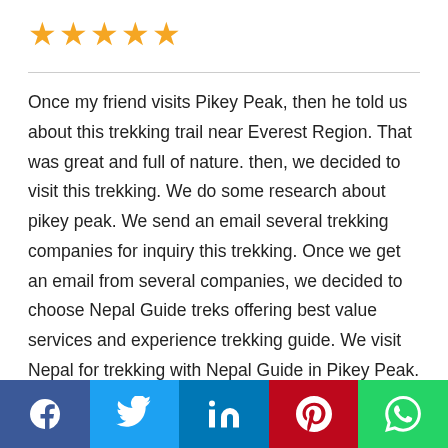[Figure (other): Five gold star rating icons]
Once my friend visits Pikey Peak, then he told us about this trekking trail near Everest Region. That was great and full of nature. then, we decided to visit this trekking. We do some research about pikey peak. We send an email several trekking companies for inquiry this trekking. Once we get an email from several companies, we decided to choose Nepal Guide treks offering best value services and experience trekking guide. We visit Nepal for trekking with Nepal Guide in Pikey Peak. Our Guide Krishna everything told about pikey
[Figure (other): Social media sharing bar with Facebook, Twitter, LinkedIn, Pinterest, and WhatsApp icons]